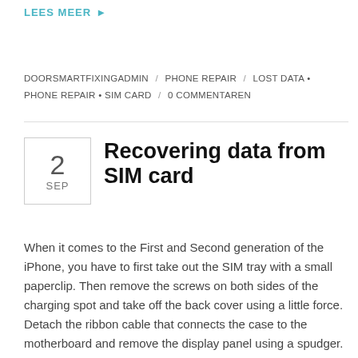LEES MEER ▸
DOORSMARTFIXINGADMIN / PHONE REPAIR / LOST DATA • PHONE REPAIR • SIM CARD / 0 COMMENTAREN
Recovering data from SIM card
When it comes to the First and Second generation of the iPhone, you have to first take out the SIM tray with a small paperclip. Then remove the screws on both sides of the charging spot and take off the back cover using a little force. Detach the ribbon cable that connects the case to the motherboard and remove the display panel using a spudger. The motherboard had to removed after you have located and